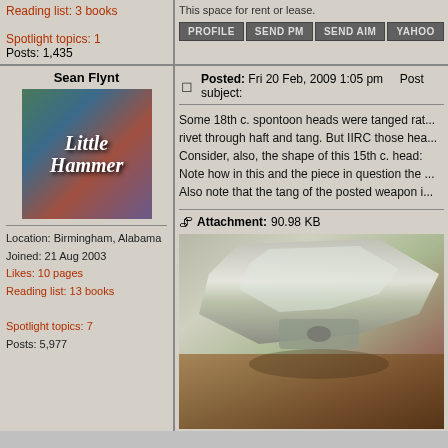Reading list: 3 books
Spotlight topics: 1
Posts: 1,435
Sean Flynt
[Figure (illustration): Avatar image showing book cover for 'Little Hammer' with medieval battle scene]
Location: Birmingham, Alabama
Joined: 21 Aug 2003
Likes: 10 pages
Reading list: 13 books
Spotlight topics: 7
Posts: 5,977
Posted: Fri 20 Feb, 2009 1:05 pm    Post subject:
Some 18th c. spontoon heads were tanged rat... rivet through haft and tang. But IIRC those hea... Consider, also, the shape of this 15th c. head: Note how in this and the piece in question the ... Also note that the tang of the posted weapon i...
Attachment: 90.98 KB
[Figure (photo): Close-up photograph of a medieval weapon head (spontoon or polearm), showing metal blade/tang detail against a wooden surface]